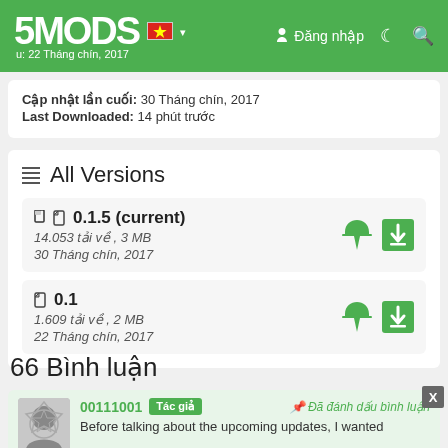5MODS — Đăng nhập — 22 Tháng chín, 2017
Cập nhật lần cuối: 30 Tháng chín, 2017
Last Downloaded: 14 phút trước
All Versions
0.1.5 (current)
14.053 tải về , 3 MB
30 Tháng chín, 2017
0.1
1.609 tải về , 2 MB
22 Tháng chín, 2017
66 Bình luận
00111001 Tác giả — Đã đánh dấu bình luận
Before talking about the upcoming updates, I wanted